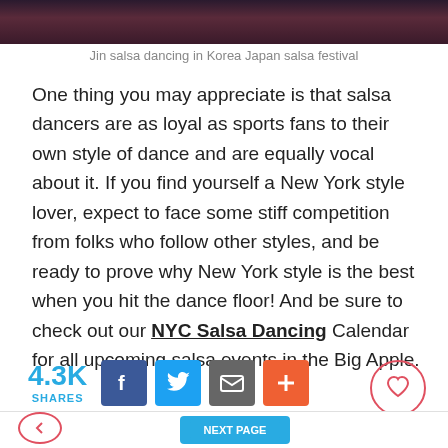[Figure (photo): Photo strip of salsa dancing at top of page]
Jin salsa dancing in Korea Japan salsa festival
One thing you may appreciate is that salsa dancers are as loyal as sports fans to their own style of dance and are equally vocal about it. If you find yourself a New York style lover, expect to face some stiff competition from folks who follow other styles, and be ready to prove why New York style is the best when you hit the dance floor! And be sure to check out our NYC Salsa Dancing Calendar for all upcoming salsa events in the Big Apple.
[Figure (infographic): Social share bar: 4.3K shares, Facebook, Twitter, Email, Plus buttons, and a heart button]